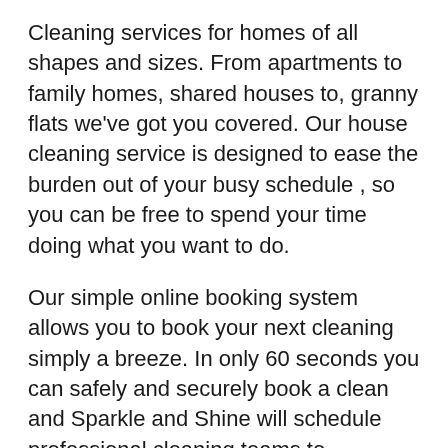Cleaning services for homes of all shapes and sizes. From apartments to family homes, shared houses to, granny flats we've got you covered. Our house cleaning service is designed to ease the burden out of your busy schedule , so you can be free to spend your time doing what you want to do.
Our simple online booking system allows you to book your next cleaning simply a breeze. In only 60 seconds you can safely and securely book a clean and Sparkle and Shine will schedule professional cleaning teams to meticulously get your home cleaned so you can just sit back and relax. It really is that easy.
So no matter your cleaning needs we have the service for you. If you've recently built or renovated